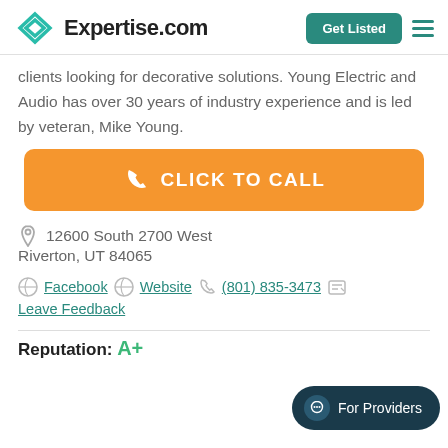Expertise.com | Get Listed
clients looking for decorative solutions. Young Electric and Audio has over 30 years of industry experience and is led by veteran, Mike Young.
[Figure (infographic): Orange button with phone icon labeled CLICK TO CALL]
12600 South 2700 West
Riverton, UT 84065
Facebook  Website  (801) 835-3473
Leave Feedback
Reputation: A+
[Figure (infographic): Dark navy pill button labeled For Providers with chat bubble icon]